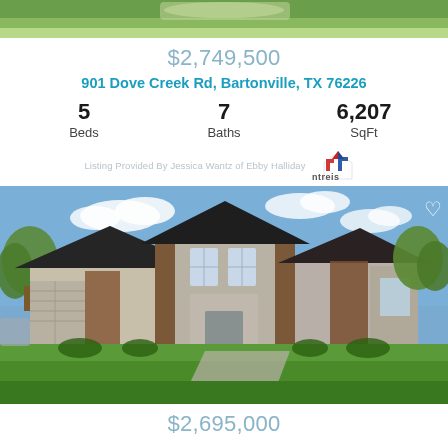[Figure (photo): Top partial photo strip showing greenery/aerial view of property]
$2,749,500
901 Dove Creek Rd, Bartonville, TX 76226
5 Beds  7 Baths  6,207 SqFt
Listing Provided By Jessica Wantz of Ebby Halliday
[Figure (photo): Exterior photo of a large modern farmhouse/stone and stucco home with green lawn and trees]
$2,695,000